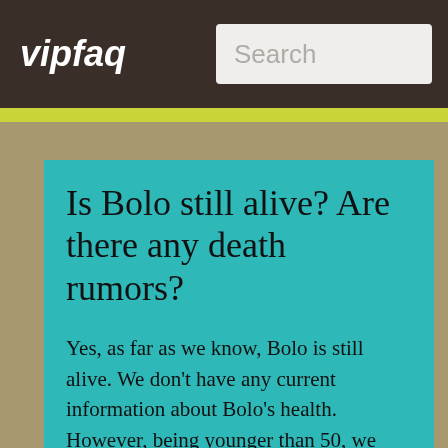vipfaq
Is Bolo still alive? Are there any death rumors?
Yes, as far as we know, Bolo is still alive. We don't have any current information about Bolo's health. However, being younger than 50, we hope that everything is ok.